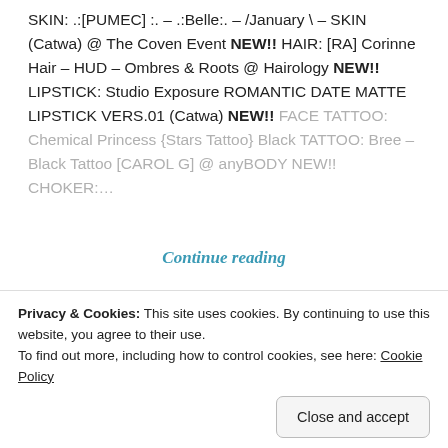SKIN: .:[PUMEC] :. – .:Belle:. – /January \ – SKIN (Catwa) @ The Coven Event NEW!! HAIR: [RA] Corinne Hair – HUD – Ombres & Roots @ Hairology NEW!! LIPSTICK: Studio Exposure ROMANTIC DATE MATTE LIPSTICK VERS.01 (Catwa) NEW!! FACE TATTOO: Chemical Princess {Stars Tattoo} Black TATTOO: Bree – Black Tattoo [CAROL G] @ anyBODY NEW!! CHOKER:...
Continue reading
[Figure (photo): Dark purple/blue fantasy-themed image strip at bottom of page]
Privacy & Cookies: This site uses cookies. By continuing to use this website, you agree to their use. To find out more, including how to control cookies, see here: Cookie Policy
Close and accept